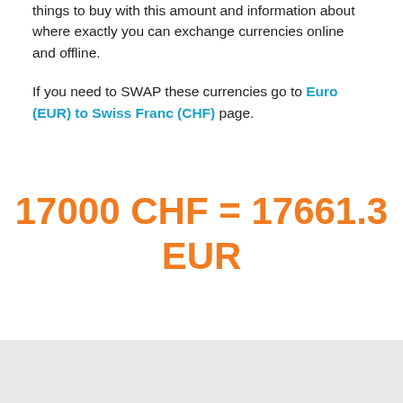things to buy with this amount and information about where exactly you can exchange currencies online and offline.
If you need to SWAP these currencies go to Euro (EUR) to Swiss Franc (CHF) page.
17000 CHF = 17661.3 EUR
[Figure (screenshot): TransferWise advertisement banner with dark blue background, logo, and text 'Get the real exchange rate' with a close button]